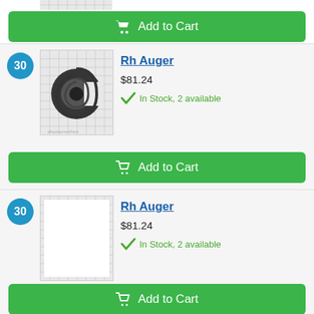[Figure (screenshot): Top partial product row showing a grid-pattern image strip and Add to Cart button]
Add to Cart
[Figure (photo): Product image of Rh Auger - black spiral/auger part on grid background]
Rh Auger
$81.24
In Stock, 2 available
Add to Cart
[Figure (photo): Product image placeholder - blank white image on grid background]
Rh Auger
$81.24
In Stock, 2 available
Add to Cart